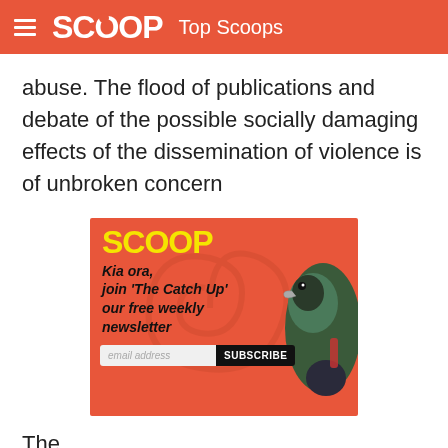SCOOP Top Scoops
abuse. The flood of publications and debate of the possible socially damaging effects of the dissemination of violence is of unbroken concern
[Figure (infographic): Scoop newsletter advertisement banner. Red background with Scoop logo in yellow, text 'Kia ora, join The Catch Up our free weekly newsletter', a bird photo, email address input field and Subscribe button.]
The...